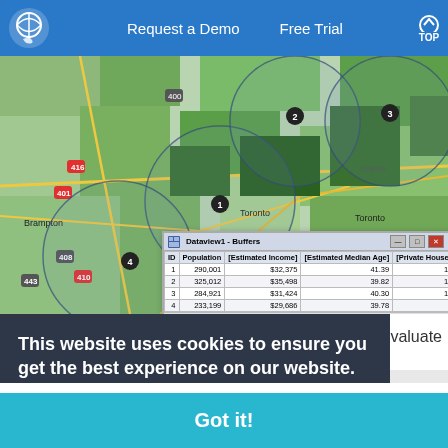Request a Demo | Free Trial | TOP
[Figure (map): Map of Toronto/Brampton/Mississauga area showing 4 circular buffer zones overlaid on a green/satellite map. A data table popup shows Dataview1 - Buffers with columns ID, Population, Estimated Income, Estimated Median Age, Private Households.]
| ID | Population | [Estimated Income] | [Estimated Median Age] | [Private Households] |
| --- | --- | --- | --- | --- |
| 1 | 290,001 | $32,375 | 41.39 | 118,824 |
| 2 | 325,012 | $35,498 | 39.82 | 133,364 |
| 3 | 284,921 | $31,424 | 40.30 | 107,650 |
| 4 | 233,199 | $29,686 | 39.78 | 83,461 |
valuate
This website uses cookies to ensure you get the best experience on our website.
Learn more
Got it!